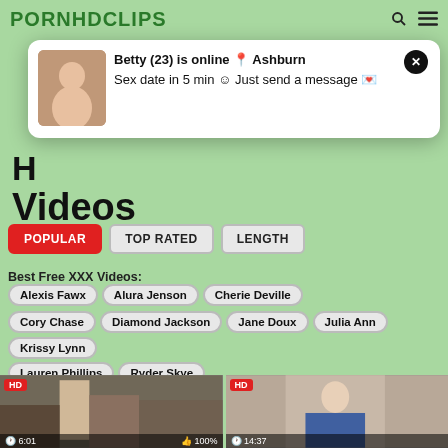PORNHDCLIPS
[Figure (screenshot): Popup notification overlay showing a person photo with text: Betty (23) is online Ashburn. Sex date in 5 min Just send a message]
Videos
POPULAR
TOP RATED
LENGTH
Best Free XXX Videos: Alexis Fawx  Alura Jenson  Cherie Deville  Cory Chase  Diamond Jackson  Jane Doux  Julia Ann  Krissy Lynn  Lauren Phillips  Ryder Skye
[Figure (photo): HD video thumbnail showing group scene, duration 6:01, rating 100%]
[Figure (photo): HD video thumbnail showing woman, duration 14:37]
Cockloving CFNM babes su...
Be My Forest Cock Sucker!